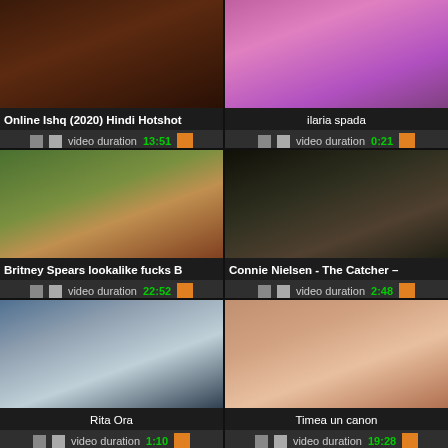[Figure (screenshot): Video thumbnail grid item 1 - Online Ishq (2020) Hindi Hotshot]
Online Ishq (2020) Hindi Hotshot
video duration 13:51
[Figure (screenshot): Video thumbnail grid item 2 - ilaria spada]
ilaria spada
video duration 0:21
[Figure (screenshot): Video thumbnail grid item 3 - Britney Spears lookalike fucks B]
Britney Spears lookalike fucks B
video duration 22:52
[Figure (screenshot): Video thumbnail grid item 4 - Connie Nielsen - The Catcher]
Connie Nielsen - The Catcher –
video duration 2:48
[Figure (screenshot): Video thumbnail grid item 5 - Rita Ora]
Rita Ora
video duration 1:10
[Figure (screenshot): Video thumbnail grid item 6 - Timea un canon]
Timea un canon
video duration 19:28